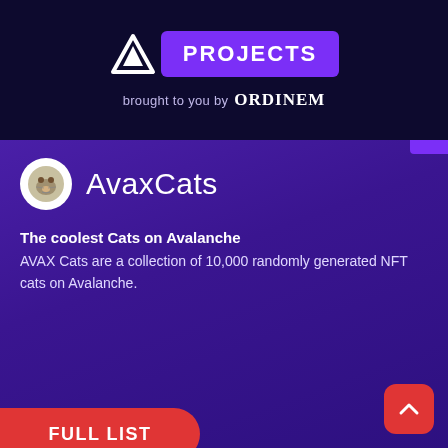[Figure (logo): Avalanche triangle logo in white]
PROJECTS
brought to you by ORDINEM
[Figure (logo): AvaxCats circular coin icon]
AvaxCats
The coolest Cats on Avalanche
AVAX Cats are a collection of 10,000 randomly generated NFT cats on Avalanche.
FULL LIST
NFT
LATEST
LOGOS
FINDER
AvaxCells
NFT Collectibles and Player vs Player Game built on the Avalanche C-Chain